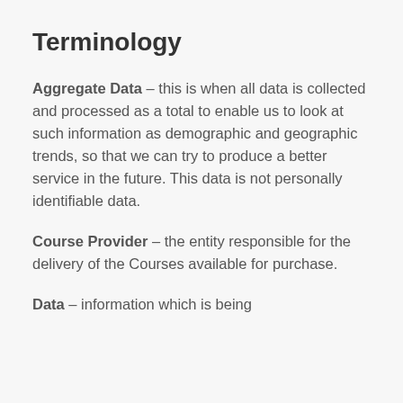Terminology
Aggregate Data – this is when all data is collected and processed as a total to enable us to look at such information as demographic and geographic trends, so that we can try to produce a better service in the future. This data is not personally identifiable data.
Course Provider – the entity responsible for the delivery of the Courses available for purchase.
Data – information which is being